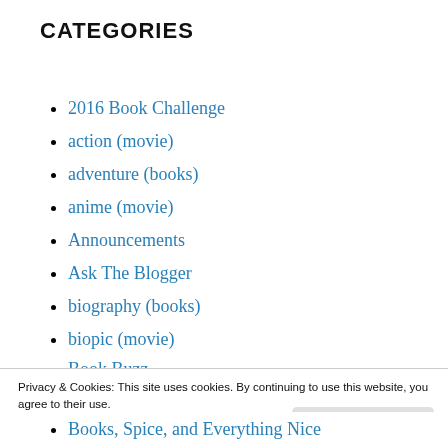CATEGORIES
2016 Book Challenge
action (movie)
adventure (books)
anime (movie)
Announcements
Ask The Blogger
biography (books)
biopic (movie)
Book Buzz
Privacy & Cookies: This site uses cookies. By continuing to use this website, you agree to their use.
To find out more, including how to control cookies, see here:
Cookie Policy
Close and accept
Books, Spice, and Everything Nice